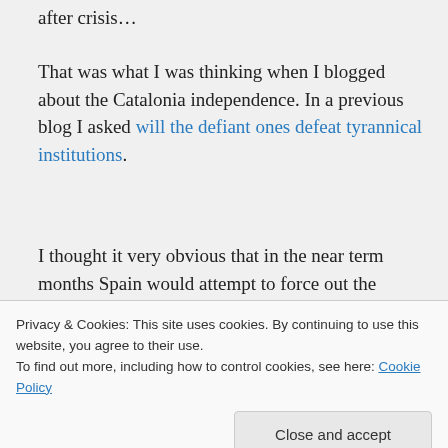after crisis…
That was what I was thinking when I blogged about the Catalonia independence. In a previous blog I asked will the defiant ones defeat tyrannical institutions.
I thought it very obvious that in the near term months Spain would attempt to force out the rebellious government parties. Perhaps mandate the removal of the Catalonia flag and language. Cultural
Privacy & Cookies: This site uses cookies. By continuing to use this website, you agree to their use.
To find out more, including how to control cookies, see here: Cookie Policy
Close and accept
look like in Catalonia?